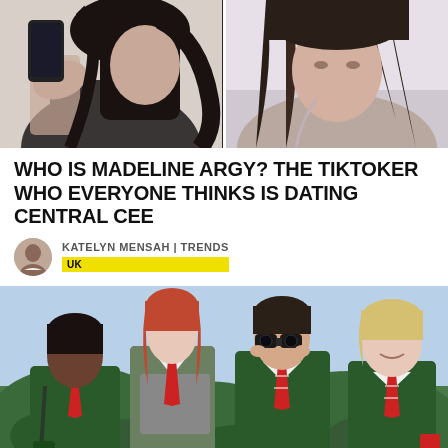[Figure (photo): Two side-by-side photos of a woman with long dark hair taking a mirror selfie (left) and a close-up portrait (right)]
WHO IS MADELINE ARGY? THE TIKTOKER WHO EVERYONE THINKS IS DATING CENTRAL CEE
KATELYN MENSAH | TRENDS UK
[Figure (photo): Four teenagers in green school uniforms with red ties, one holding binoculars, posed outdoors against a hedge]